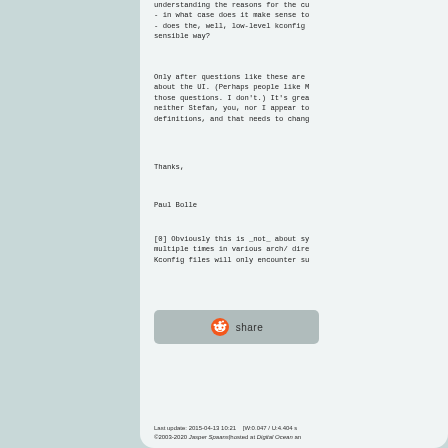understanding the reasons for the cu
- in what case does it make sense to
- does the, well, low-level kconfig
sensible way?
Only after questions like these are
about the UI. (Perhaps people like M
those questions. I don't.) It's grea
neither Stefan, you, nor I appear to
definitions, and that needs to chang
Thanks,
Paul Bolle
[0] Obviously this is _not_ about sy
multiple times in various arch/ dire
Kconfig files will only encounter su
[Figure (other): Reddit share button with Reddit alien logo icon and 'share' text]
Last update: 2015-04-13 10:21    [W:0.047 / U:4.404 s
©2003-2020 Jasper Spaans|hosted at Digital Ocean an